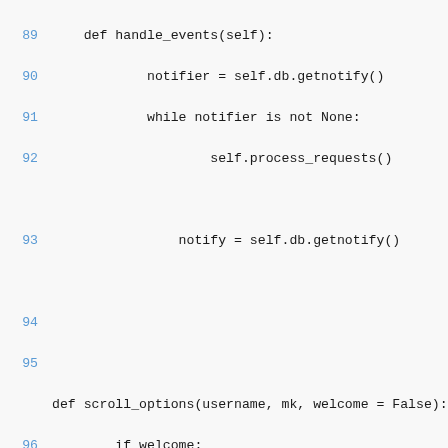Code listing lines 89-105 showing Python source code with handle_events and scroll_options functions